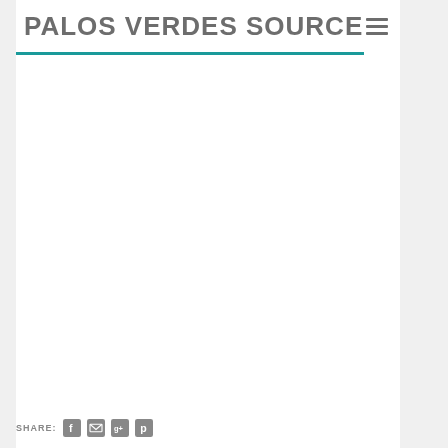PALOS VERDES SOURCE
[Figure (other): Empty white content area placeholder]
SHARE: